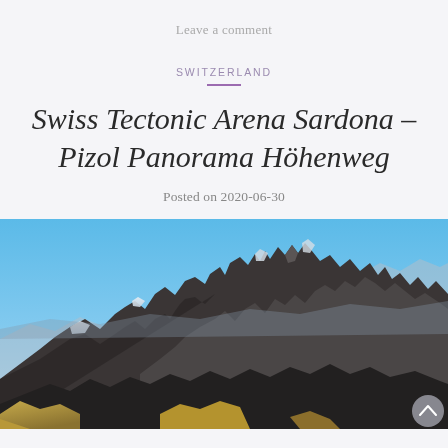Leave a comment
SWITZERLAND
Swiss Tectonic Arena Sardona – Pizol Panorama Höhenweg
Posted on 2020-06-30
[Figure (photo): Panoramic mountain landscape photograph showing rugged rocky peaks under a clear blue sky. The foreground shows golden-brown alpine meadow slopes, with dark rocky ridgelines extending across the frame. Snow patches visible on some peaks. This is the Swiss Alps near the Sardona/Pizol area.]